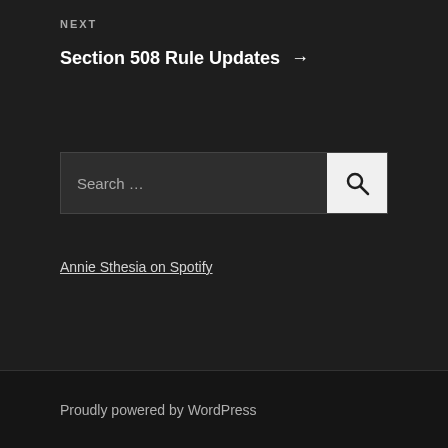NEXT
Section 508 Rule Updates →
Search …
Annie Sthesia on Spotify
Proudly powered by WordPress